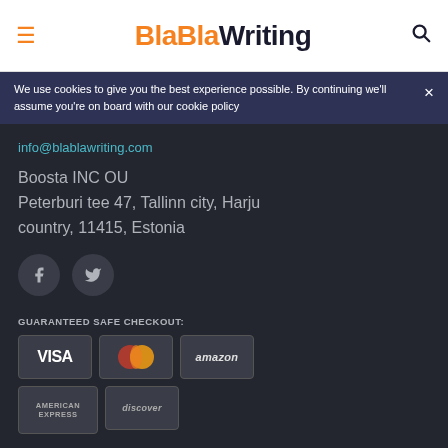BlaBlaWriting
We use cookies to give you the best experience possible. By continuing we'll assume you're on board with our cookie policy
info@blablawriting.com
Boosta INC OU
Peterburi tee 47, Tallinn city, Harju country, 11415, Estonia
[Figure (illustration): Facebook and Twitter social media icon buttons]
GUARANTEED SAFE CHECKOUT:
[Figure (illustration): Payment method logos: VISA, MasterCard, Amazon, American Express, Discover]
THIS SERVICE WILL BE USEFUL FOR: